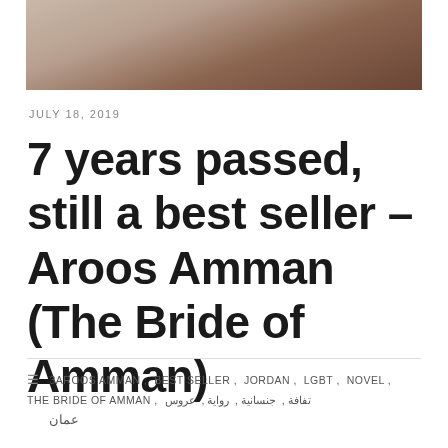[Figure (photo): Partial photo showing a warm-toned brown/terracotta background, likely a book or architectural surface]
JULY 18, 2019
7 years passed, still a best seller – Aroos Amman (The Bride of Amman)
3AROOS AMMAN, BEST SELLER, JORDAN, LGBT, NOVEL, THE BRIDE OF AMMAN, تفافة, جنسانية, رواية, عروس, عمان